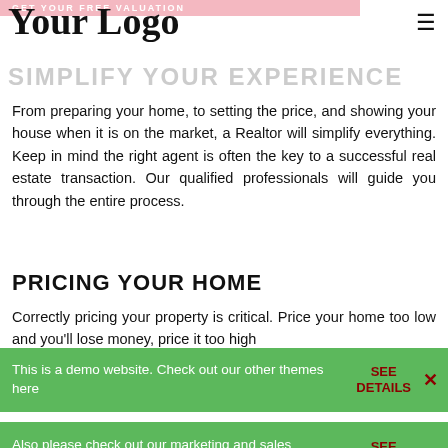GET YOUR FREE VALUATION
Your Logo
SIMPLIFY YOUR EXPERIENCE
From preparing your home, to setting the price, and showing your house when it is on the market, a Realtor will simplify everything. Keep in mind the right agent is often the key to a successful real estate transaction. Our qualified professionals will guide you through the entire process.
PRICING YOUR HOME
Correctly pricing your property is critical. Price your home too low and you'll lose money, price it too high...
This is a demo website. Check out our other themes here
SEE DETAILS
Also please check out our marketing and sales automation software there
SEE DETAILS